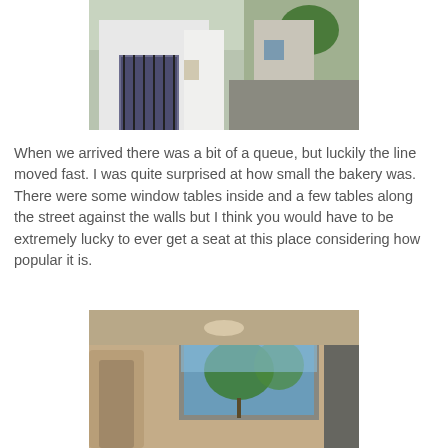[Figure (photo): Street-level exterior of a small white building with iron gate and plants, with a narrow street visible to the right]
When we arrived there was a bit of a queue, but luckily the line moved fast. I was quite surprised at how small the bakery was. There were some window tables inside and a few tables along the street against the walls but I think you would have to be extremely lucky to ever get a seat at this place considering how popular it is.
[Figure (photo): Interior or exterior architectural view of a building with a window showing trees outside, beige walls and a pillar]